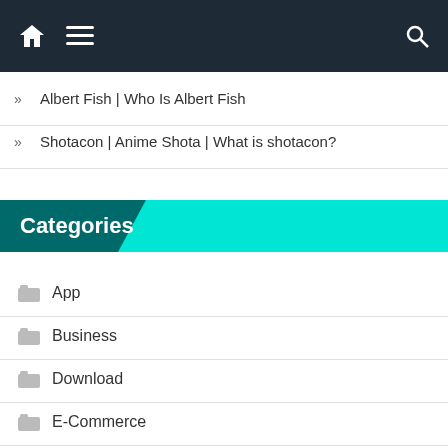Navigation bar with home, menu, and search icons
Albert Fish | Who Is Albert Fish
Shotacon | Anime Shota | What is shotacon?
Categories
App
Business
Download
E-Commerce
Game
Health